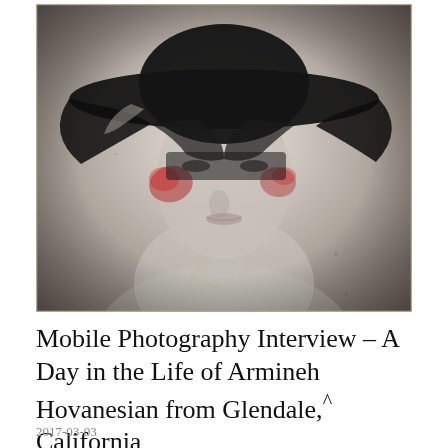[Figure (photo): Artistic black and white photo of a person wearing a wide-brimmed hat, face partially obscured by the hat's shadow, with red paint-like marks on the cheeks, creating a dramatic, moody effect.]
Mobile Photography Interview – A Day in the Life of Armineh Hovanesian from Glendale, California
2017-03-03